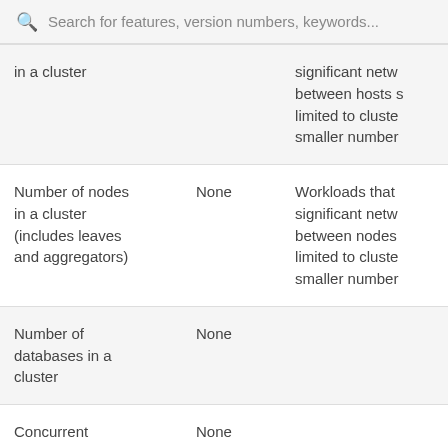Search for features, version numbers, keywords...
| in a cluster |  | significant netw between hosts s limited to cluste smaller number |
| Number of nodes in a cluster (includes leaves and aggregators) | None | Workloads that significant netw between nodes limited to cluste smaller number |
| Number of databases in a cluster | None |  |
| Concurrent queries in a cluster | None |  |